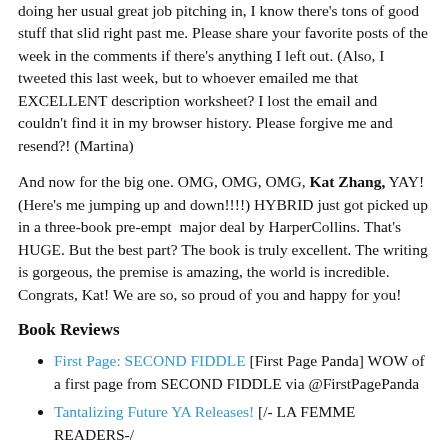doing her usual great job pitching in, I know there's tons of good stuff that slid right past me. Please share your favorite posts of the week in the comments if there's anything I left out. (Also, I tweeted this last week, but to whoever emailed me that EXCELLENT description worksheet? I lost the email and couldn't find it in my browser history. Please forgive me and resend?! (Martina)
And now for the big one. OMG, OMG, OMG, Kat Zhang, YAY! (Here's me jumping up and down!!!!) HYBRID just got picked up in a three-book pre-empt  major deal by HarperCollins. That's HUGE. But the best part? The book is truly excellent. The writing is gorgeous, the premise is amazing, the world is incredible. Congrats, Kat! We are so, so proud of you and happy for you!
Book Reviews
First Page: SECOND FIDDLE [First Page Panda] WOW of a first page from SECOND FIDDLE via @FirstPagePanda
Tantalizing Future YA Releases! [/- LA FEMME READERS-/